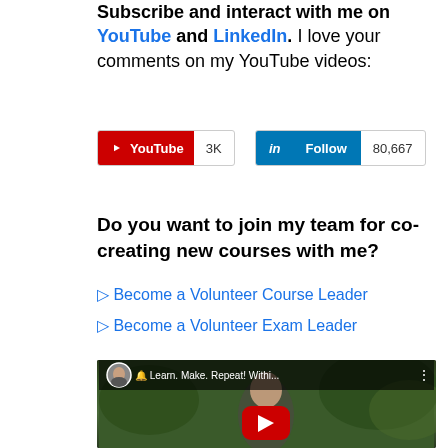Subscribe and interact with me on YouTube and LinkedIn. I love your comments on my YouTube videos:
[Figure (screenshot): YouTube subscribe button showing 3K subscribers and LinkedIn Follow button showing 80,667 followers]
Do you want to join my team for co-creating new courses with me?
▷ Become a Volunteer Course Leader
▷ Become a Volunteer Exam Leader
[Figure (screenshot): YouTube video thumbnail showing a man outdoors with palm trees, titled 'Learn. Make. Repeat! Withi...' with a red play button overlay and a circular avatar in the top left corner.]